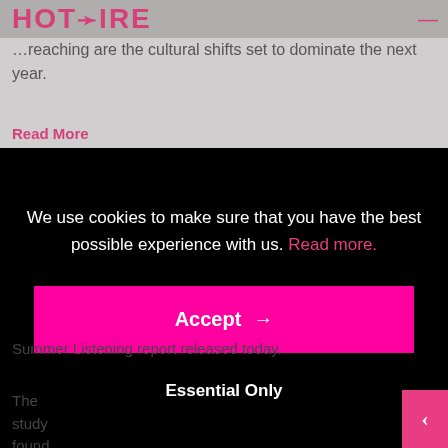HOTWIRE
…reaching are the cultural shifts set to dominate the next year.
Read More
We use cookies to make sure that you have the best possible experience with us. Read more.
Accept →
Essential Only
Summer Listening report released today.
The study found 91 per cent of listeners consider radi… great source of information over summer, and while m…